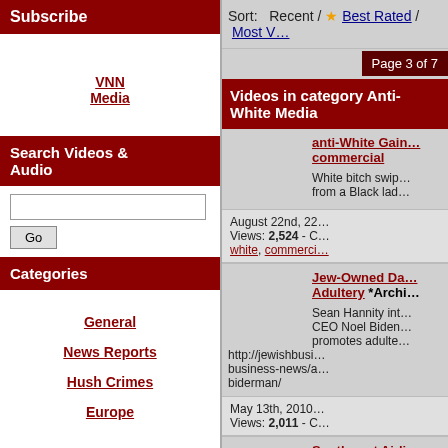Subscribe
VNN Media
Search Videos & Audio
Categories
General
News Reports
Hush Crimes
Europe
Sort:   Recent / ★ Best Rated / Most V…
Page 3 of 7
Videos in category Anti-White Media
anti-White Gain… commercial
White bitch swip… from a Black lad…
August 22nd, 22… Views: 2,524 - C… white, commerci…
Jew-Owned Da… Adultery *Archi…
Sean Hannity int… CEO Noel Biden… promotes adulte… http://jewishbusi… business-news/a… biderman/
May 13th, 2010… Views: 2,011 - C…
Southwest Airli…